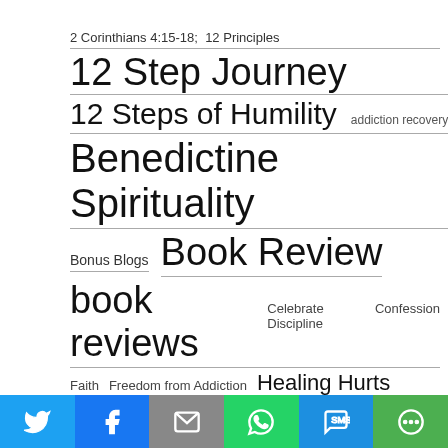2 Corinthians 4:15-18;  12 Principles
12 Step Journey
12 Steps of Humility  addiction recovery
Benedictine Spirituality
Bonus Blogs  Book Review
book reviews  Celebrate Discipline  Confession
Faith  Freedom from Addiction  Healing Hurts
humility  Joyce Meyer  Living Life Lessons
monastic spirituality
[Figure (infographic): Social sharing bar with icons for Twitter, Facebook, Email, WhatsApp, SMS, and More options]